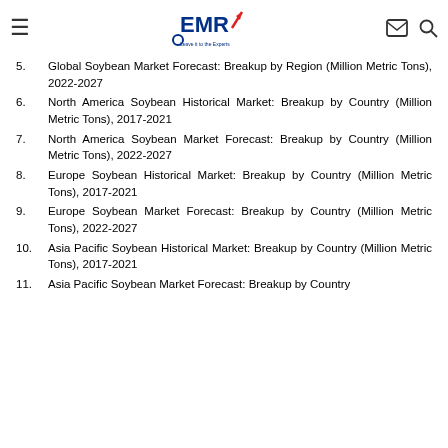EMR - Leave it to the Experts
5. Global Soybean Market Forecast: Breakup by Region (Million Metric Tons), 2022-2027
6. North America Soybean Historical Market: Breakup by Country (Million Metric Tons), 2017-2021
7. North America Soybean Market Forecast: Breakup by Country (Million Metric Tons), 2022-2027
8. Europe Soybean Historical Market: Breakup by Country (Million Metric Tons), 2017-2021
9. Europe Soybean Market Forecast: Breakup by Country (Million Metric Tons), 2022-2027
10. Asia Pacific Soybean Historical Market: Breakup by Country (Million Metric Tons), 2017-2021
11. Asia Pacific Soybean Market Forecast: Breakup by Country